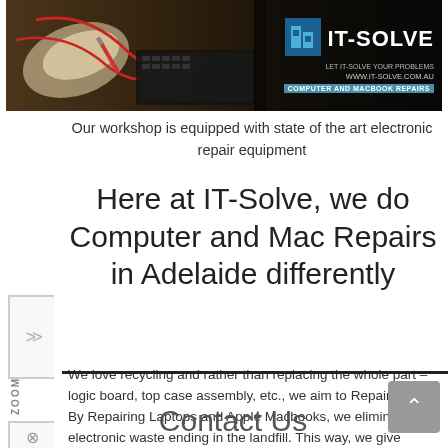[Figure (photo): IT-Solve banner showing a technician repairing electronics with the IT-Solve logo, website URL, and 'Computer and Macbook Repairs' tagline on the right side.]
Our workshop is equipped with state of the art electronic repair equipment
Here at IT-Solve, we do Computer and Mac Repairs in Adelaide differently
We love recycling and rather than replacing the whole part – logic board, top case assembly, etc., we aim to Repair them. By Repairing Laptops and Apple Macbooks, we eliminate the electronic waste ending in the landfill. This way, we give Macbooks and Laptops a second chance to be useful again.
Contact Us